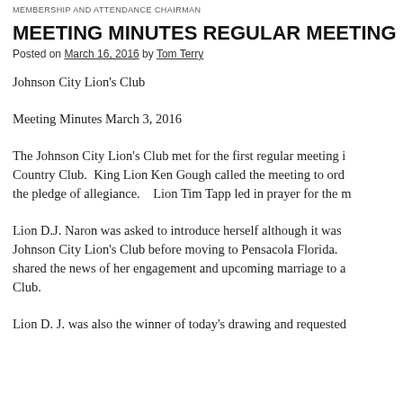MEMBERSHIP AND ATTENDANCE CHAIRMAN
MEETING MINUTES REGULAR MEETING
Posted on March 16, 2016 by Tom Terry
Johnson City Lion's Club
Meeting Minutes March 3, 2016
The Johnson City Lion's Club met for the first regular meeting i Country Club.  King Lion Ken Gough called the meeting to ord the pledge of allegiance.   Lion Tim Tapp led in prayer for the m
Lion D.J. Naron was asked to introduce herself although it was Johnson City Lion's Club before moving to Pensacola Florida. shared the news of her engagement and upcoming marriage to a Club.
Lion D. J. was also the winner of today's drawing and requested